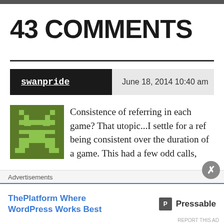43 COMMENTS
swanpride   June 18, 2014 10:40 am
[Figure (illustration): Pixel art avatar of a green space invader robot character on a square background]
Consistence of referring in each game? That utopic...I settle for a ref being consistent over the duration of a game. This had a few odd calls, though.
Liked by 1 person
Advertisements
ThePlatform Where WordPress Works Best   P Pressable